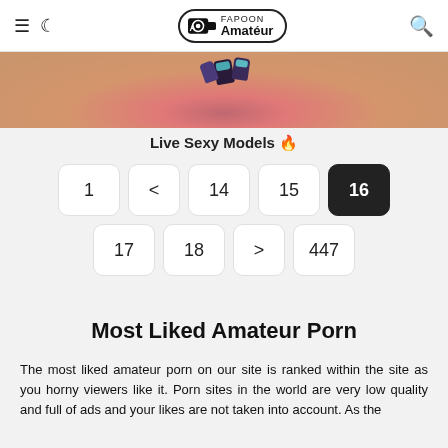≡ 🌙 AmateurFapoon | 🔍
[Figure (photo): Close-up photo strip showing skin tones and dark painted fingernails with teal highlights]
Live Sexy Models 🔥
Pagination: 1, <, 14, 15, 16 (active), 17, 18, >, 447
Most Liked Amateur Porn
The most liked amateur porn on our site is ranked within the site as you horny viewers like it. Porn sites in the world are very low quality and full of ads and your likes are not taken into account. As the